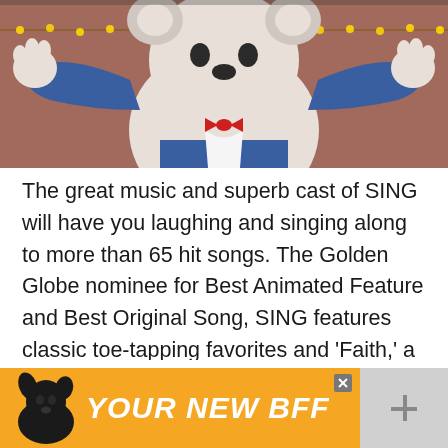[Figure (photo): Screenshot of movie review page showing animated character from SING movie - a white koala in blue suit with red bow tie, arms raised, on a stage with bokeh lights background]
The great music and superb cast of SING will have you laughing and singing along to more than 65 hit songs. The Golden Globe nominee for Best Animated Feature and Best Original Song, SING features classic toe-tapping favorites and 'Faith,' a brand new song by the legendary Stevie Wonder (featuring Ariana Grande). It's the first song he's made for a ma...
[Figure (photo): What's Next thumbnail showing The Little Prince movie]
[Figure (screenshot): Advertisement banner showing a dog with text YOUR NEW BFF on orange background]